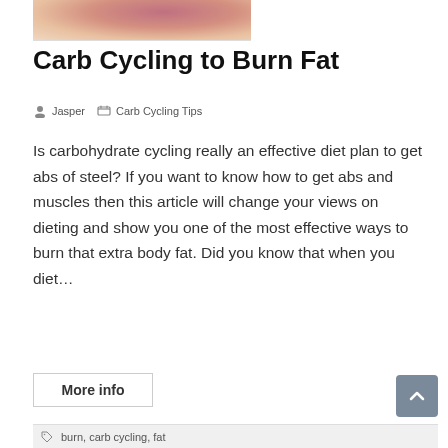[Figure (photo): Partial photo of a person wearing a hat, showing face/lips with dark lipstick]
Carb Cycling to Burn Fat
Jasper   Carb Cycling Tips
Is carbohydrate cycling really an effective diet plan to get abs of steel? If you want to know how to get abs and muscles then this article will change your views on dieting and show you one of the most effective ways to burn that extra body fat. Did you know that when you diet…
More info
burn, carb cycling, fat